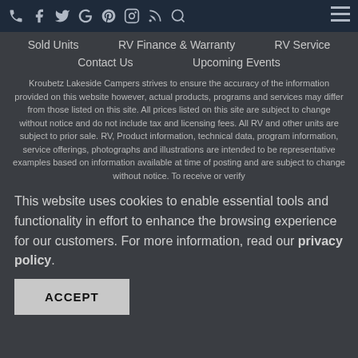Social icons and hamburger menu navigation bar
Sold Units | RV Finance & Warranty | RV Service | Contact Us | Upcoming Events
Kroubetz Lakeside Campers strives to ensure the accuracy of the information provided on this website however, actual products, programs and services may differ from those listed on this site. All prices listed on this site are subject to change without notice and do not include tax and licensing fees. All RV and other units are subject to prior sale. RV, Product information, technical data, program information, service offerings, photographs and illustrations are intended to be representative examples based on information available at time of posting and are subject to change without notice. To receive or verify
This website uses cookies to enable essential tools and functionality in effort to enhance the browsing experience for our customers. For more information, read our privacy policy.
ACCEPT